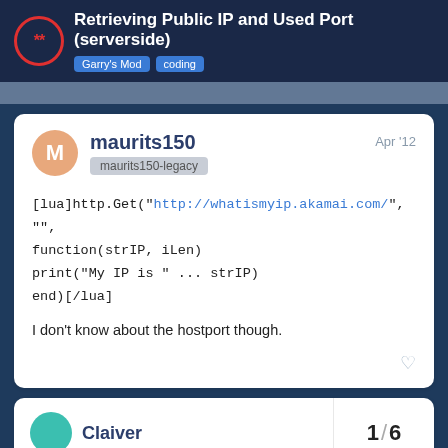Retrieving Public IP and Used Port (serverside) | Garry's Mod | coding
maurits150
maurits150-legacy
Apr '12
[lua]http.Get("http://whatismyip.akamai.com/", "",
function(strIP, iLen)
print("My IP is " ... strIP)
end)[/lua]

I don't know about the hostport though.
Claiver
1 / 6